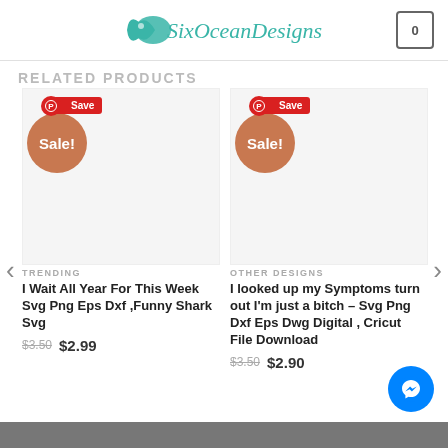SixOceanDesigns
RELATED PRODUCTS
[Figure (screenshot): Product card for 'I Wait All Year For This Week Svg Png Eps Dxf ,Funny Shark Svg' with Sale badge and Save button, category TRENDING, price $3.50 sale $2.99]
[Figure (screenshot): Product card for 'I looked up my Symptoms turn out I'm just a bitch – Svg Png Dxf Eps Dwg Digital , Cricut File Download' with Sale badge and Save button, category OTHER DESIGNS, price $3.50 sale $2.90]